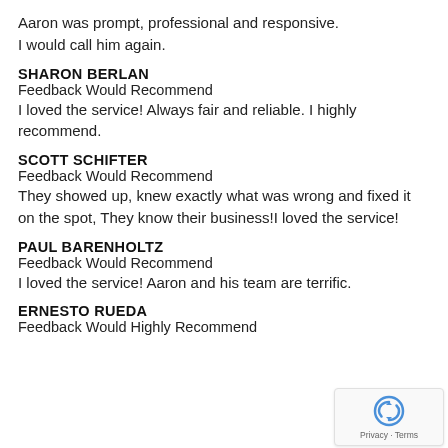Aaron was prompt, professional and responsive. I would call him again.
SHARON BERLAN
Feedback Would Recommend
I loved the service! Always fair and reliable. I highly recommend.
SCOTT SCHIFTER
Feedback Would Recommend
They showed up, knew exactly what was wrong and fixed it on the spot, They know their business!I loved the service!
PAUL BARENHOLTZ
Feedback Would Recommend
I loved the service! Aaron and his team are terrific.
ERNESTO RUEDA
Feedback Would Highly Recommend